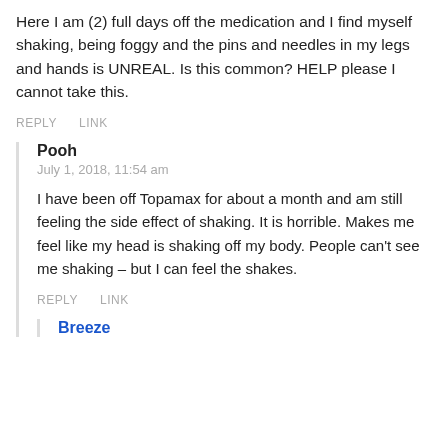Here I am (2) full days off the medication and I find myself shaking, being foggy and the pins and needles in my legs and hands is UNREAL. Is this common? HELP please I cannot take this.
REPLY   LINK
Pooh
July 1, 2018, 11:54 am
I have been off Topamax for about a month and am still feeling the side effect of shaking. It is horrible. Makes me feel like my head is shaking off my body. People can't see me shaking – but I can feel the shakes.
REPLY   LINK
Breeze